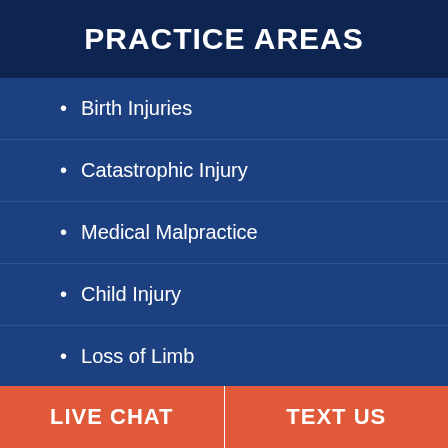PRACTICE AREAS
Birth Injuries
Catastrophic Injury
Medical Malpractice
Child Injury
Loss of Limb
Burn Injury
LIVE CHAT    TEXT US